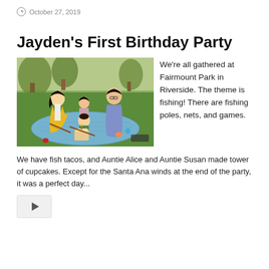October 27, 2019
Jayden's First Birthday Party
[Figure (photo): Family photo at a park: a woman in yellow dress, a man in blue patterned shirt, a toddler girl, and a baby sitting on a blue picnic blanket. There is a birthday cake and colorful toys. Trees and green grass in the background.]
We're all gathered at Fairmount Park in Riverside. The theme is fishing! There are fishing poles, nets, and games.
We have fish tacos, and Auntie Alice and Auntie Susan made tower of cupcakes. Except for the Santa Ana winds at the end of the party, it was a perfect day...